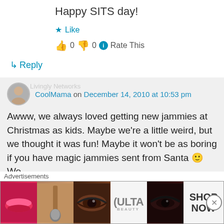Happy SITS day!
★ Like
👍 0 👎 0 ℹ Rate This
↳ Reply
CoolMama on December 14, 2010 at 10:53 pm
Awww, we always loved getting new jammies at Christmas as kids. Maybe we're a little weird, but we thought it was fun! Maybe it won't be as boring if you have magic jammies sent from Santa 🙂 We
Advertisements
[Figure (screenshot): Ulta beauty advertisement banner with makeup imagery and SHOP NOW text]